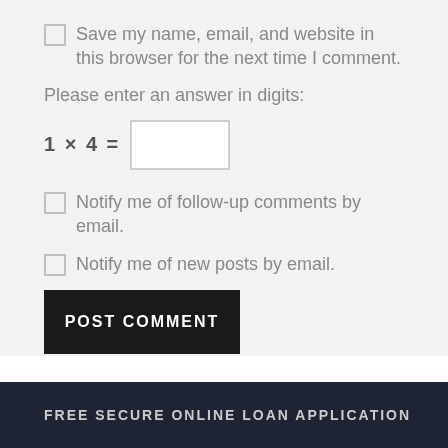Save my name, email, and website in this browser for the next time I comment.
Please enter an answer in digits:
Notify me of follow-up comments by email.
Notify me of new posts by email.
POST COMMENT
FREE SECURE ONLINE LOAN APPLICATION